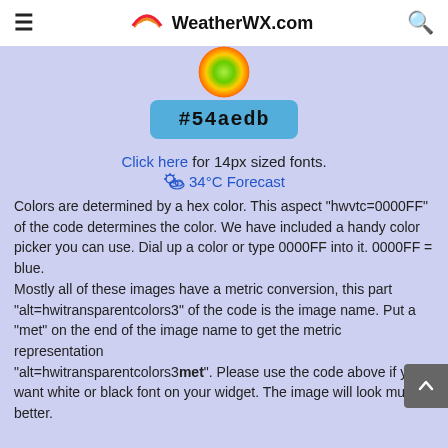≡ WeatherWX.com 🔍
[Figure (illustration): Color swatch circle at top, partially cropped, showing weather widget color preview]
#54aedb
Click here for 14px sized fonts.
☁ 34°C Forecast
Colors are determined by a hex color. This aspect "hwvtc=0000FF" of the code determines the color. We have included a handy color picker you can use. Dial up a color or type 0000FF into it. 0000FF = blue.
Mostly all of these images have a metric conversion, this part "alt=hwitransparentcolors3" of the code is the image name. Put a "met" on the end of the image name to get the metric representation "alt=hwitransparentcolors3met". Please use the code above if you want white or black font on your widget. The image will look much better.